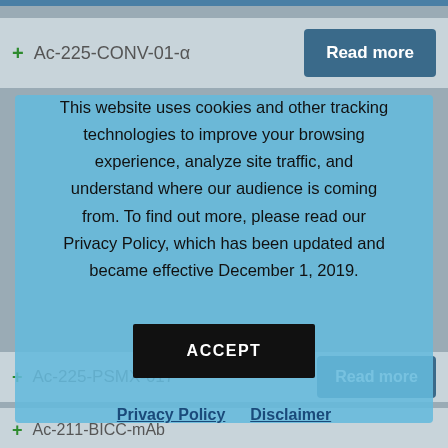Ac-225-CONV-01-α
This website uses cookies and other tracking technologies to improve your browsing experience, analyze site traffic, and understand where our audience is coming from. To find out more, please read our Privacy Policy, which has been updated and became effective December 1, 2019.
ACCEPT
Privacy Policy  Disclaimer
Ac-225-PSMX-017
Ac-211-BICC-mAb